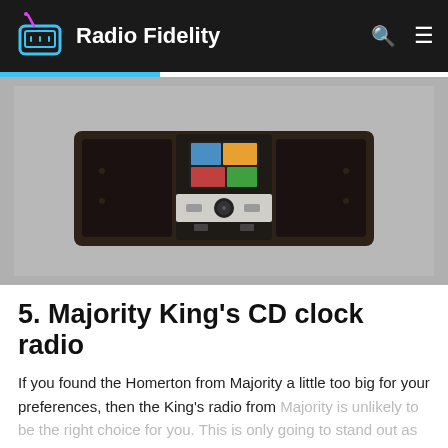Radio Fidelity
[Figure (photo): Majority King's CD clock radio — a dark wood-finish rectangular radio unit with a small color display screen in the center, control knob, and speaker grilles on either side, shown against a gray background.]
5. Majority King's CD clock radio
If you found the Homerton from Majority a little too big for your preferences, then the King's radio from Majority is unlikely to be the right choice for you. This is only going to stand out as the best clock radio CD